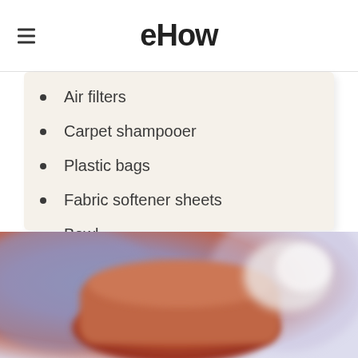eHow
Air filters
Carpet shampooer
Plastic bags
Fabric softener sheets
Bowl
Vinegar
[Figure (photo): Blurred photo of a bowl or container with a white substance, possibly showing cleaning materials, with a purple-blue blurred background]